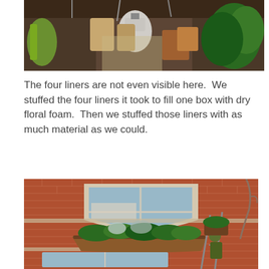[Figure (photo): Photo of a market or shop display with hanging items, bags, and green foliage/plants in a cluttered indoor/outdoor setting.]
The four liners are not even visible here.  We stuffed the four liners it took to fill one box with dry floral foam.  Then we stuffed those liners with as much material as we could.
[Figure (photo): Photo of a brick building exterior with an arched window and a large window box planter filled with greenery. A person on a ladder is installing or arranging a second planter on the right side of the building.]